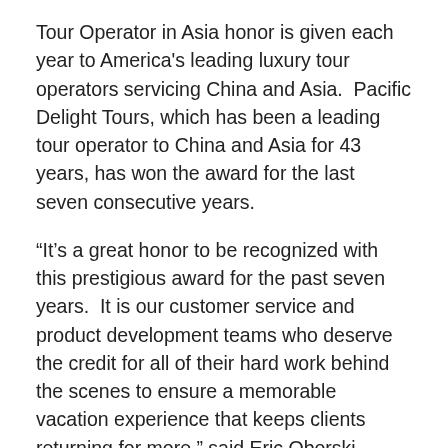Tour Operator in Asia honor is given each year to America's leading luxury tour operators servicing China and Asia.  Pacific Delight Tours, which has been a leading tour operator to China and Asia for 43 years, has won the award for the last seven consecutive years.
“It’s a great honor to be recognized with this prestigious award for the past seven years.  It is our customer service and product development teams who deserve the credit for all of their hard work behind the scenes to ensure a memorable vacation experience that keeps clients returning for more,” said Eric Oborski, president of Pacific Delight Tours.
In addition to winning the TravelAge West WAVE Award from 2008-2014, Pacific Delight Tours has received the 2009 Travel Weekly Readers’ Choice Award, and the